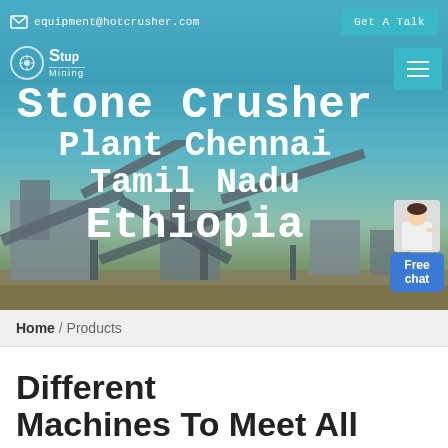equipment@hotcrusher.com  Get A Talk
[Figure (screenshot): Website screenshot showing a stone crusher plant with industrial machinery in the background. Hero section with teal/blue sky and machinery silhouettes.]
Stone Crusher Plant Chennai Tamil Nadu Ethiopia
Home / Products
Different Machines To Meet All